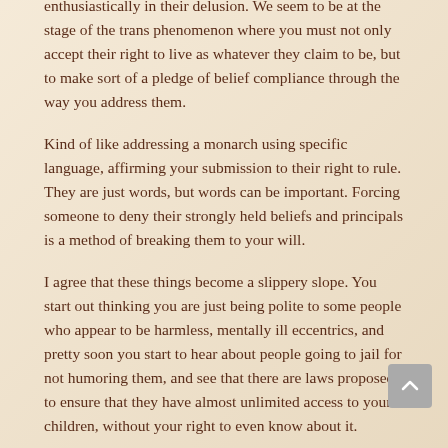enthusiastically in their delusion. We seem to be at the stage of the trans phenomenon where you must not only accept their right to live as whatever they claim to be, but to make sort of a pledge of belief compliance through the way you address them.
Kind of like addressing a monarch using specific language, affirming your submission to their right to rule. They are just words, but words can be important. Forcing someone to deny their strongly held beliefs and principals is a method of breaking them to your will.
I agree that these things become a slippery slope. You start out thinking you are just being polite to some people who appear to be harmless, mentally ill eccentrics, and pretty soon you start to hear about people going to jail for not humoring them, and see that there are laws proposed to ensure that they have almost unlimited access to your children, without your right to even know about it.
It seems myopic. Crushing the rights of large numbers of